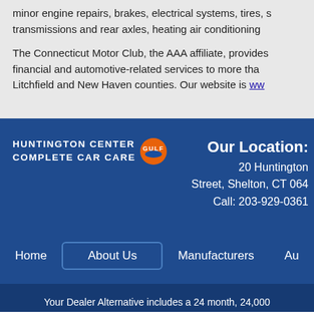minor engine repairs, brakes, electrical systems, tires, s transmissions and rear axles, heating air conditioning
The Connecticut Motor Club, the AAA affiliate, provides financial and automotive-related services to more than Litchfield and New Haven counties. Our website is ww
[Figure (logo): Huntington Center Complete Car Care with Gulf logo badge]
Our Location: 20 Huntington Street, Shelton, CT 064 Call: 203-929-0361
Home
About Us
Manufacturers
Au
Your Dealer Alternative includes a 24 month, 24,000